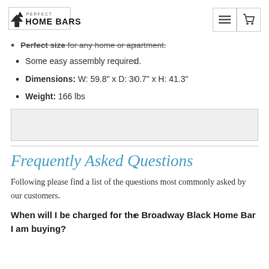Perfect Home Bars
Perfect size for any home or apartment.
Some easy assembly required.
Dimensions: W: 59.8" x D: 30.7" x H: 41.3"
Weight: 166 lbs
Frequently Asked Questions
Following please find a list of the questions most commonly asked by our customers.
When will I be charged for the Broadway Black Home Bar I am buying?